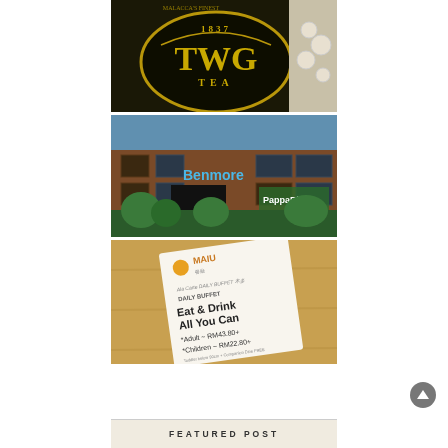[Figure (photo): Close-up photo of 1837 TWG Tea logo on a dark tin/canister with gold lettering and circular emblem, with a decorative white textured object visible on the right]
[Figure (photo): Exterior photo of a multi-story brick/terracotta building with a 'Benmore' sign in blue and 'PappaRich' restaurant signage visible on the ground floor, surrounded by greenery]
[Figure (photo): Photo of a MAIU restaurant menu card on a wooden table showing 'Eat & Drink All You Can' buffet with pricing: Adult RM43.80+ and Children RM22.80+]
FEATURED POST